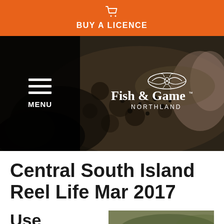BUY A LICENCE
[Figure (screenshot): Fish & Game Northland website header with dark navigation on left showing hamburger menu and MENU label, and Fish & Game Northland logo on right over a dark photographic background of a fish being held.]
Central South Island Reel Life Mar 2017
Use April to